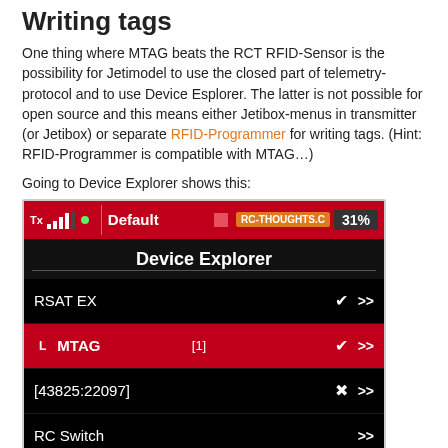Writing tags
One thing where MTAG beats the RCT RFID-Sensor is the possibility for Jetimodel to use the closed part of telemetry-protocol and to use Device Esplorer. The latter is not possible for open source and this means either Jetibox-menus in transmitter (or Jetibox) or separate RFID-Programmer for writing tags. (Hint: RFID-Programmer is compatible with MTAG…)
Going to Device Explorer shows this:
[Figure (screenshot): Screenshot of Device Explorer on a Jeti transmitter showing RSAT EX, MTAG [1] (highlighted in red), [43825:22097], and RC Switch entries with checkmarks and navigation arrows. Battery at 31%.]